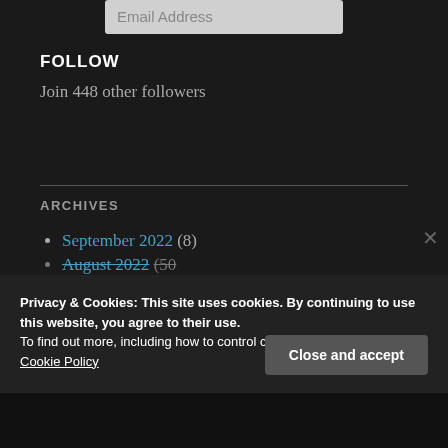Email Address
FOLLOW
Join 448 other followers
ARCHIVES
September 2022 (8)
August 2022 (50+)
Privacy & Cookies: This site uses cookies. By continuing to use this website, you agree to their use.
To find out more, including how to control cookies, see here:
Cookie Policy
Close and accept